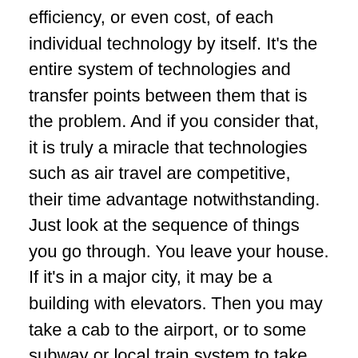efficiency, or even cost, of each individual technology by itself. It's the entire system of technologies and transfer points between them that is the problem. And if you consider that, it is truly a miracle that technologies such as air travel are competitive, their time advantage notwithstanding. Just look at the sequence of things you go through. You leave your house. If it's in a major city, it may be a building with elevators. Then you may take a cab to the airport, or to some subway or local train system to take you there. The train station, more likely than not, involves escalators or elevators to take you to the proper level; and the station at the airport likewise. Inside the airport, you take a convoluted route involving more escalators, moving sidewalks, perhaps shuttle trains to get you to the proper terminal, and then more escalators. Meanwhile, your baggage takes a very different path